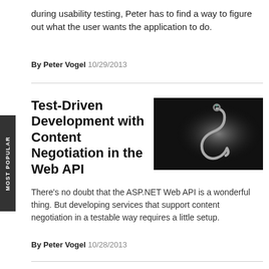during usability testing, Peter has to find a way to figure out what the user wants the application to do.
By Peter Vogel 10/29/2013
Test-Driven Development with Content Negotiation in the Web API
[Figure (photo): A metal fishing hook on a dark background with dramatic lighting]
There's no doubt that the ASP.NET Web API is a wonderful thing. But developing services that support content negotiation in a testable way requires a little setup.
By Peter Vogel 10/28/2013